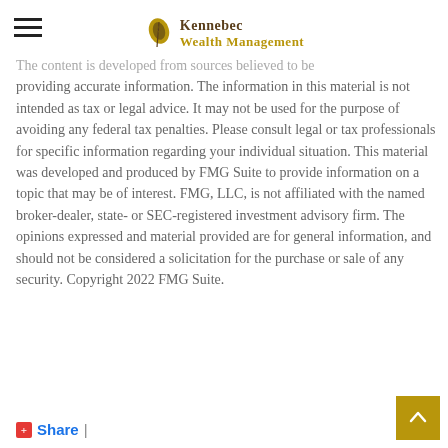Kennebec Wealth Management
The content is developed from sources believed to be providing accurate information. The information in this material is not intended as tax or legal advice. It may not be used for the purpose of avoiding any federal tax penalties. Please consult legal or tax professionals for specific information regarding your individual situation. This material was developed and produced by FMG Suite to provide information on a topic that may be of interest. FMG, LLC, is not affiliated with the named broker-dealer, state- or SEC-registered investment advisory firm. The opinions expressed and material provided are for general information, and should not be considered a solicitation for the purchase or sale of any security. Copyright 2022 FMG Suite.
Share |